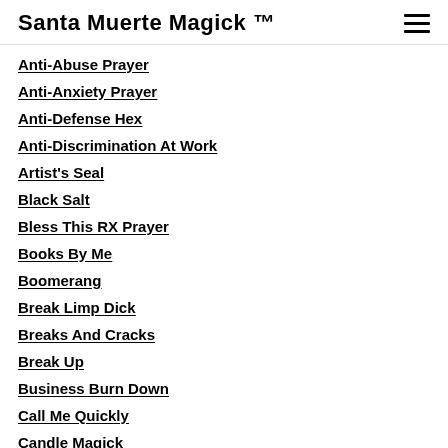Santa Muerte Magick ™
Anti-Abuse Prayer
Anti-Anxiety Prayer
Anti-Defense Hex
Anti-Discrimination At Work
Artist's Seal
Black Salt
Bless This RX Prayer
Books By Me
Boomerang
Break Limp Dick
Breaks And Cracks
Break Up
Business Burn Down
Call Me Quickly
Candle Magick
Chakras
Clock Colors